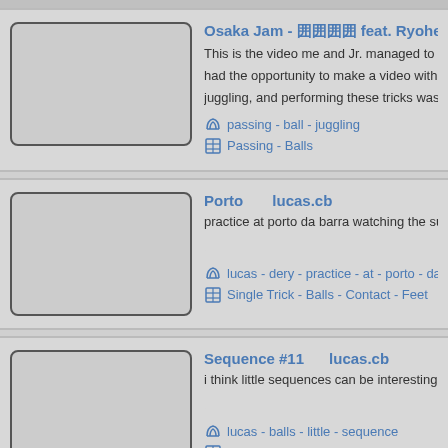[Figure (screenshot): Video listing page showing juggling/skill toy videos with thumbnails, titles, descriptions, and tags]
Osaka Jam - feat. Ryohei Kimura (J — This is the video me and Jr. managed to record... had the opportunity to make a video with him b... juggling, and performing these tricks was easy... passing - ball - juggling | Passing - Balls
Porto   lucas.cb — practice at porto da barra watching the sunset... lucas - dery - practice - at - porto - da - ... | Single Trick - Balls - Contact - Feet
Sequence #11   lucas.cb — i think little sequences can be interesting. | lucas - balls - little - sequence | Single Trick - Balls
Showing our Style - How to improvise w...